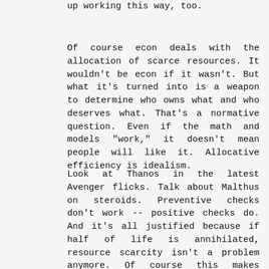up working this way, too.
Of course econ deals with the allocation of scarce resources. It wouldn't be econ if it wasn't. But what it's turned into is a weapon to determine who owns what and who deserves what. That's a normative question. Even if the math and models "work," it doesn't mean people will like it. Allocative efficiency is idealism.
Look at Thanos in the latest Avenger flicks. Talk about Malthus on steroids. Preventive checks don't work -- positive checks do. And it's all justified because if half of life is annihilated, resource scarcity isn't a problem anymore. Of course this makes Thanos insane. But...could he be right?
I think we have to start looking at what we really want and care about. Econ helps point to these existential questions. It's why externalities due to economic thinking expressed as policy and